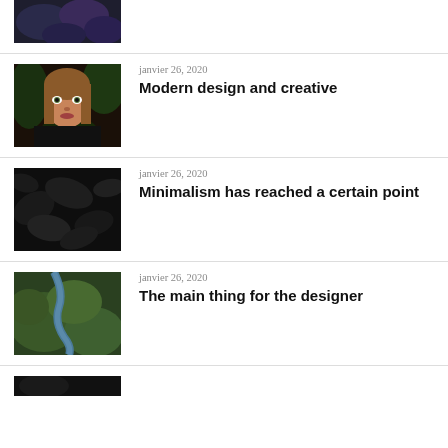[Figure (photo): Partial top image showing dark purple/blue plant or floral pattern, cropped at top]
[Figure (photo): Portrait photo of a young woman with long brown hair against dark green foliage background]
janvier 26, 2020
Modern design and creative
[Figure (photo): Dark overhead photo of dark leaves/foliage in black and dark gray tones]
janvier 26, 2020
Minimalism has reached a certain point
[Figure (photo): Aerial photo of a winding blue river through green mossy landscape]
janvier 26, 2020
The main thing for the designer
[Figure (photo): Partial bottom image, dark tones, cropped at bottom of page]